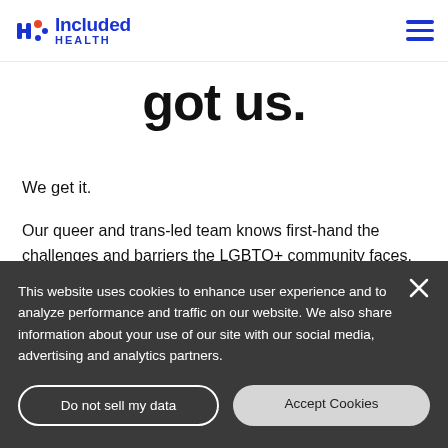Included Health
got us.
We get it.
Our queer and trans-led team knows first-hand the challenges and barriers the LGBTQ+ community faces. That’s why we help you, your loved ones and other members of the LGBTQ+ community access affirming, high-quality care.
This website uses cookies to enhance user experience and to analyze performance and traffic on our website. We also share information about your use of our site with our social media, advertising and analytics partners.
Do not sell my data
Accept Cookies